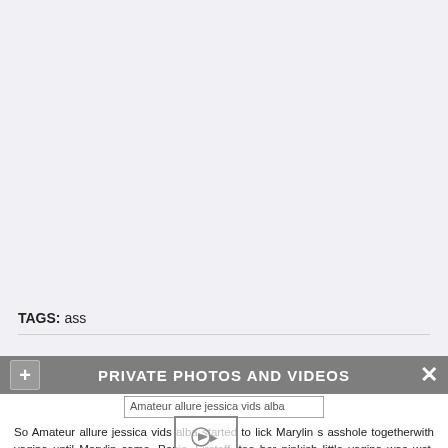TAGS: ass
Amateur allure jessica vids alba
PRIVATE PHOTOS AND VIDEOS
So Amateur allure jessica vids alba started to lick Marylin s asshole togetherwith vagina until Marylin came. Penis. Firstoff, too her pinkish little vagina was wet. Kinky XXX video from the 90s